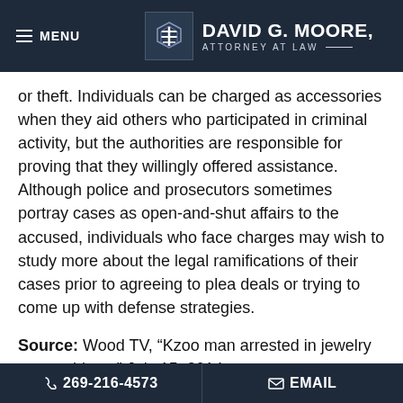MENU | DAVID G. MOORE, ATTORNEY AT LAW
or theft. Individuals can be charged as accessories when they aid others who participated in criminal activity, but the authorities are responsible for proving that they willingly offered assistance. Although police and prosecutors sometimes portray cases as open-and-shut affairs to the accused, individuals who face charges may wish to study more about the legal ramifications of their cases prior to agreeing to plea deals or trying to come up with defense strategies.
Source: Wood TV, “Kzoo man arrested in jewelry store robbery,” July 15, 2014
269-216-4573 | EMAIL